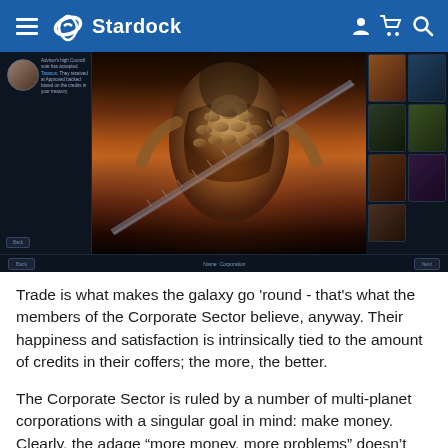Stardock
[Figure (screenshot): In-game screenshot showing an alien character in the center with a sci-fi UI panel on the left showing a character avatar and dialogue text, and a grid of portrait thumbnails on the right.]
Trade is what makes the galaxy go 'round - that's what the members of the Corporate Sector believe, anyway. Their happiness and satisfaction is intrinsically tied to the amount of credits in their coffers; the more, the better.
The Corporate Sector is ruled by a number of multi-planet corporations with a singular goal in mind: make money. Clearly, the adage “more money, more problems” doesn’t concern them in the slightest. To this end, when you play as this civilization you’ll start with a bonus 2000 credits - and, because it’s hard to gain credits without